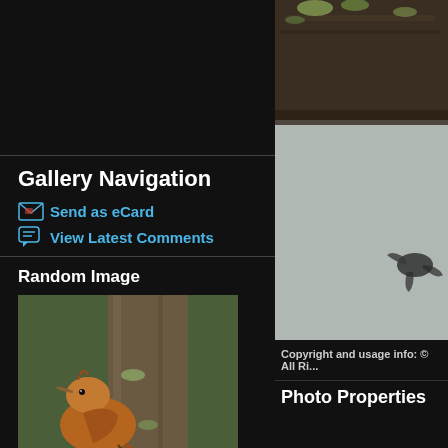Gallery Navigation
Send as eCard
View Latest Comments
Random Image
[Figure (photo): Tawny-winged Woodcreeper bird on a tree trunk, brown plumage, seen from the side]
Tawny-winged Woodcreeper
[Figure (photo): Partial view of a bird in flight against a grey blurred background, hanging below a branch with lichen]
Copyright and usage info: © All Ri...
Photo Properties